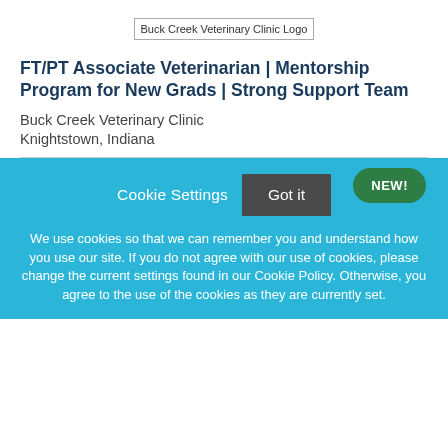[Figure (logo): Buck Creek Veterinary Clinic Logo placeholder image]
FT/PT Associate Veterinarian | Mentorship Program for New Grads | Strong Support Team
Buck Creek Veterinary Clinic
Knightstown, Indiana
NEW!
Cookie Settings
Got it
We use cookies so that we can remember you and understand how you use our site. If you do not agree with our use of cookies, please change the current settings found in our Cookie Policy. Otherwise, you agree to the use of the cookies as they are currently set.